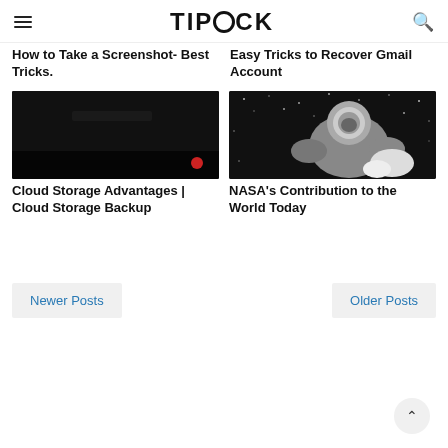TIPTOCK
How to Take a Screenshot- Best Tricks.
Easy Tricks to Recover Gmail Account
[Figure (photo): Dark/black screen with a small red dot in lower right corner]
[Figure (photo): Black and white photo of an astronaut in space against a starry background]
Cloud Storage Advantages | Cloud Storage Backup
NASA's Contribution to the World Today
Newer Posts
Older Posts